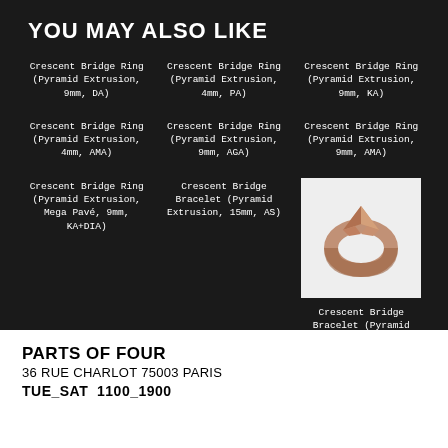YOU MAY ALSO LIKE
Crescent Bridge Ring (Pyramid Extrusion, 9mm, DA)
Crescent Bridge Ring (Pyramid Extrusion, 4mm, PA)
Crescent Bridge Ring (Pyramid Extrusion, 9mm, KA)
Crescent Bridge Ring (Pyramid Extrusion, 4mm, AMA)
Crescent Bridge Ring (Pyramid Extrusion, 9mm, AGA)
Crescent Bridge Ring (Pyramid Extrusion, 9mm, AMA)
Crescent Bridge Ring (Pyramid Extrusion, Mega Pavé, 9mm, KA+DIA)
Crescent Bridge Bracelet (Pyramid Extrusion, 15mm, AS)
[Figure (photo): Photo of a Crescent Bridge Bracelet (Pyramid Extrusion, 15mm, AM) - a rose gold/copper sculptural ring-like bracelet on white background]
Crescent Bridge Bracelet (Pyramid Extrusion, 15mm, AM)
PARTS OF FOUR
36 RUE CHARLOT 75003 PARIS
TUE_SAT  1100_1900